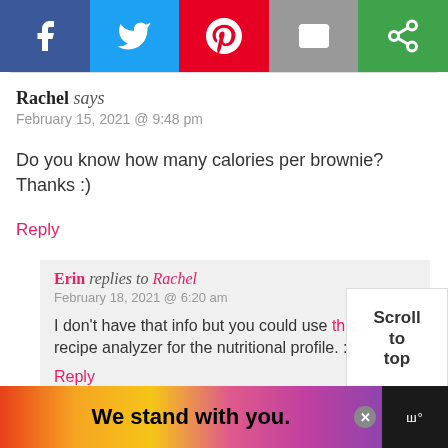[Figure (other): Social share bar with Facebook, Twitter, Pinterest, Email, and share buttons]
Rachel says
February 15, 2021 @ 9:48 pm
Do you know how many calories per brownie? Thanks :)
Reply
Erin replies to Rachel
February 18, 2021 @ 6:20 am
I don't have that info but you could use this recipe analyzer for the nutritional profile. :)
Reply
[Figure (other): Scroll to top overlay button]
[Figure (other): Advertisement banner: We stand with you.]